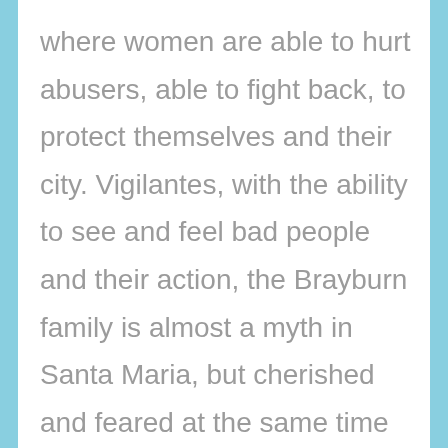where women are able to hurt abusers, able to fight back, to protect themselves and their city. Vigilantes, with the ability to see and feel bad people and their action, the Brayburn family is almost a myth in Santa Maria, but cherished and feared at the same time by the inhabitants thanks to their actions and their